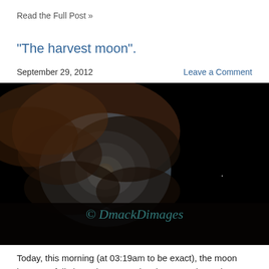Read the Full Post »
"The harvest moon".
September 29, 2012
Leave a Comment
[Figure (photo): Nighttime photograph of a full moon partially obscured by clouds against a dark sky, with a watermark reading '© DmackDimages']
Today, this morning (at 03:19am to be exact), the moon became "full" (exactly 100% - despite appearing to be 100% to